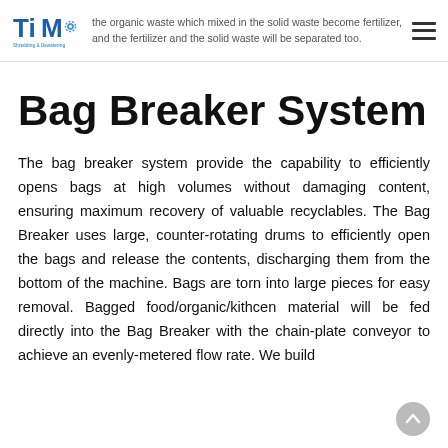the organic waste which mixed in the solid waste become fertilizer, and the fertilizer and the solid waste will be separated too.
Bag Breaker System
The bag breaker system provide the capability to efficiently opens bags at high volumes without damaging content, ensuring maximum recovery of valuable recyclables. The Bag Breaker uses large, counter-rotating drums to efficiently open the bags and release the contents, discharging them from the bottom of the machine. Bags are torn into large pieces for easy removal. Bagged food/organic/kithcen material will be fed directly into the Bag Breaker with the chain-plate conveyor to achieve an evenly-metered flow rate. We build